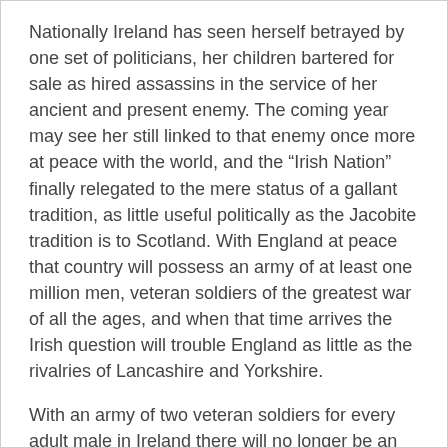Nationally Ireland has seen herself betrayed by one set of politicians, her children bartered for sale as hired assassins in the service of her ancient and present enemy. The coming year may see her still linked to that enemy once more at peace with the world, and the “Irish Nation” finally relegated to the mere status of a gallant tradition, as little useful politically as the Jacobite tradition is to Scotland. With England at peace that country will possess an army of at least one million men, veteran soldiers of the greatest war of all the ages, and when that time arrives the Irish question will trouble England as little as the rivalries of Lancashire and Yorkshire.
With an army of two veteran soldiers for every adult male in Ireland there will no longer be an Irish cause for any uneasiness to the rulers of the British Empire.
A happy new year! Ah, well! Our readers are, we hope, rebels in heart, and hence may rebel even at our own